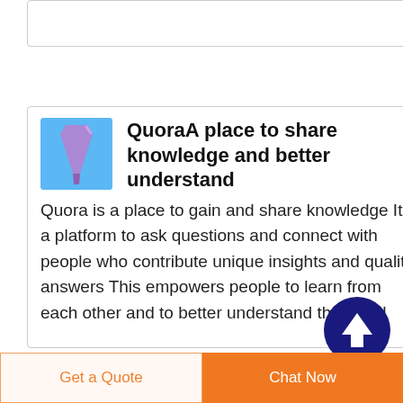[Figure (screenshot): Partial card at top, cropped off]
QuoraA place to share knowledge and better understand
Quora is a place to gain and share knowledge It s a platform to ask questions and connect with people who contribute unique insights and quality answers This empowers people to learn from each other and to better understand the world
[Figure (other): Dark blue circular scroll-to-top button with upward arrow]
Get a Quote
Chat Now